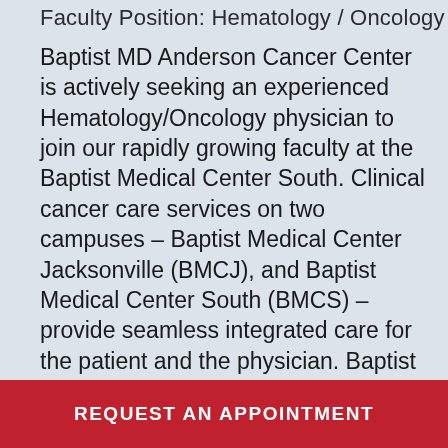Faculty Position:  Hematology / Oncology
Baptist MD Anderson Cancer Center is actively seeking an experienced Hematology/Oncology physician to join our rapidly growing faculty at the Baptist Medical Center South.  Clinical cancer care services on two campuses – Baptist Medical Center Jacksonville (BMCJ), and Baptist Medical Center South (BMCS) – provide seamless integrated care for the patient and the physician.   Baptist Health is proud to be one of only seven unique health systems in the United States chosen to replicate MD Anderson Cancer Center's multidisciplinary model of care.  We serve as the Southeast patient care hub for MD Anderson Cancer Network®, a program of MD Anderson.  Our rapid growth validates       ancer
REQUEST AN APPOINTMENT